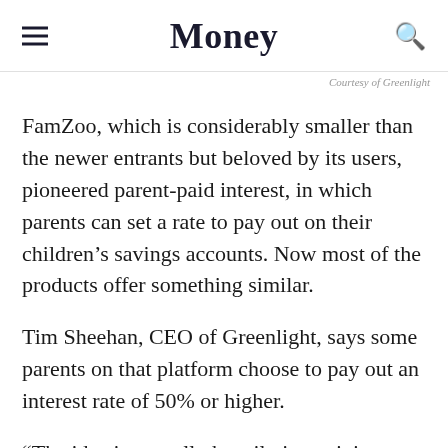Money
Courtesy of Greenlight
FamZoo, which is considerably smaller than the newer entrants but beloved by its users, pioneered parent-paid interest, in which parents can set a rate to pay out on their children's savings accounts. Now most of the products offer something similar.
Tim Sheehan, CEO of Greenlight, says some parents on that platform choose to pay out an interest rate of 50% or higher.
“The idea is to really heavily incentivize